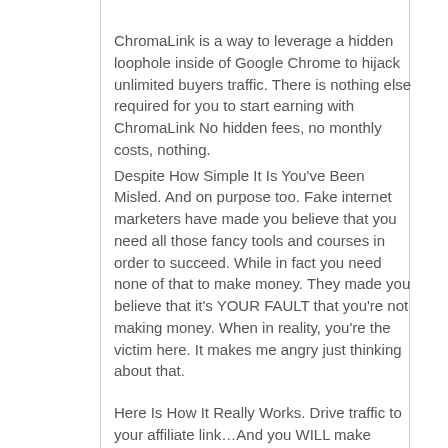ChromaLink is a way to leverage a hidden loophole inside of Google Chrome to hijack unlimited buyers traffic. There is nothing else required for you to start earning with ChromaLink No hidden fees, no monthly costs, nothing.
Despite How Simple It Is You've Been Misled. And on purpose too. Fake internet marketers have made you believe that you need all those fancy tools and courses in order to succeed. While in fact you need none of that to make money. They made you believe that it's YOUR FAULT that you're not making money. When in reality, you're the victim here. It makes me angry just thinking about that.
Here Is How It Really Works. Drive traffic to your affiliate link…And you WILL make money. That's it. I've summed the entire business model for you in one simple sentence. If you can generate traffic to your links on demand. You don't need to work